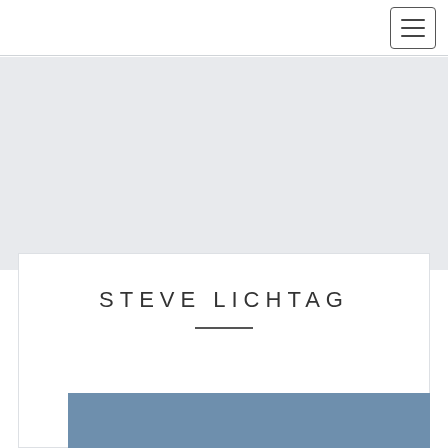Navigation bar with hamburger menu icon
STEVE LICHTAG
[Figure (photo): Blue-toned photo/image partially visible at the bottom of the white card]